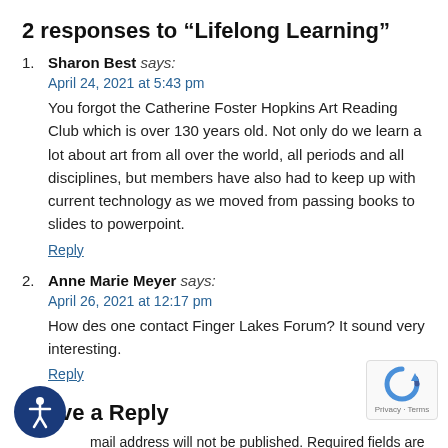2 responses to “Lifelong Learning”
Sharon Best says:
April 24, 2021 at 5:43 pm
You forgot the Catherine Foster Hopkins Art Reading Club which is over 130 years old. Not only do we learn a lot about art from all over the world, all periods and all disciplines, but members have also had to keep up with current technology as we moved from passing books to slides to powerpoint.
Reply
Anne Marie Meyer says:
April 26, 2021 at 12:17 pm
How des one contact Finger Lakes Forum? It sound very interesting.
Reply
Leave a Reply
Your email address will not be published. Required fields are marked *